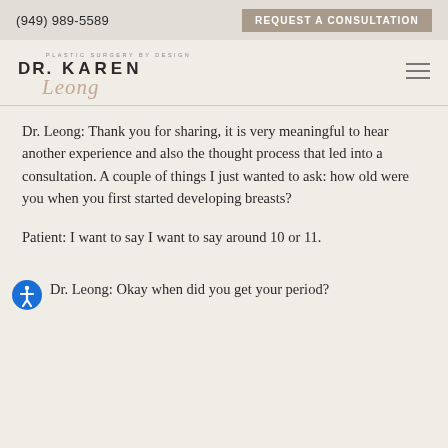(949) 989-5589 | REQUEST A CONSULTATION
[Figure (logo): Dr. Karen Leong plastic surgery logo with script signature]
Dr. Leong: Thank you for sharing, it is very meaningful to hear another experience and also the thought process that led into a consultation. A couple of things I just wanted to ask: how old were you when you first started developing breasts?
Patient: I want to say I want to say around 10 or 11.
Dr. Leong: Okay when did you get your period?